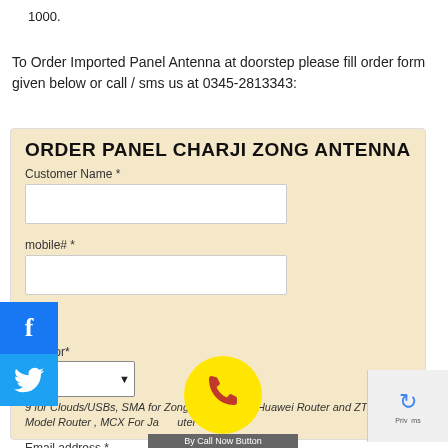1000.
To Order Imported Panel Antenna at doorstep please fill order form given below or call / sms us at 0345-2813343:
ORDER PANEL CHARJI ZONG ANTENNA
Customer Name *
mobile# *
nnector*
NO
9 for Clouds/USBs, SMA for Zong Router/ Jazz Huawei Router and ZTE Model Router , MCX For Ja uter
Email address *
By Call Now Button